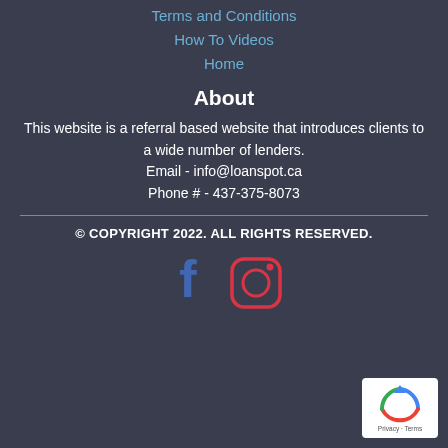Terms and Conditions
How To Videos
Home
About
This website is a referral based website that introduces clients to a wide number of lenders.
Email - info@loanspot.ca
Phone # - 437-375-8073
© COPYRIGHT 2022. ALL RIGHTS RESERVED.
[Figure (logo): Facebook and Instagram social media icons]
[Figure (logo): reCAPTCHA badge with Privacy and Terms links]